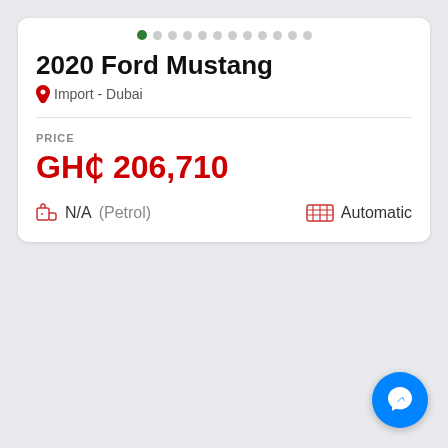2020 Ford Mustang
Import - Dubai
PRICE
GH¢ 206,710
N/A (Petrol)
Automatic
[Figure (logo): Facebook Messenger floating button icon, blue circle with white lightning bolt messenger logo]